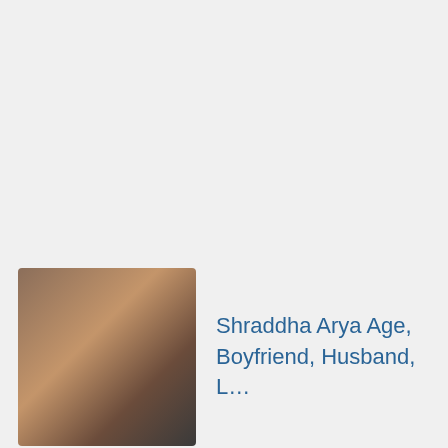Shraddha Arya Age, Boyfriend, Husband, L…
Shraddha Kapoor Age, Boyfriend, Husband,...
Rajkummar Rao Age, Girlfriend, Wife,